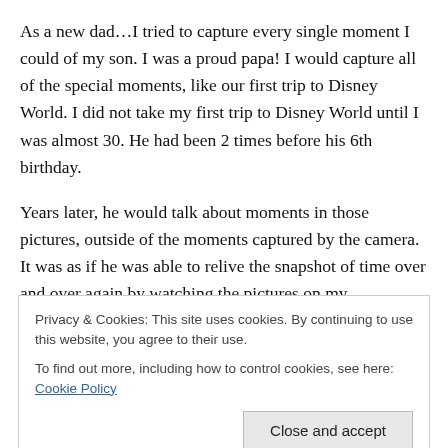As a new dad…I tried to capture every single moment I could of my son.  I was a proud papa!  I would capture all of the special moments, like our first trip to Disney World.  I did not take my first trip to Disney World until I was almost 30.  He had been 2 times before his 6th birthday.
Years later, he would talk about moments in those pictures, outside of the moments captured by the camera.  It was as if he was able to relive the snapshot of time over and over again by watching the pictures on my screensaver. Recently, I walked into his bedroom, he is 10
Privacy & Cookies: This site uses cookies. By continuing to use this website, you agree to their use.
To find out more, including how to control cookies, see here: Cookie Policy
much more than 1000 words.  What I realized early on is